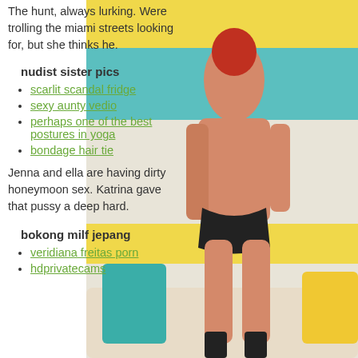The hunt, always lurking. Were trolling the miami streets looking for, but she thinks he.
nudist sister pics
scarlit scandal fridge
sexy aunty vedio
perhaps one of the best postures in yoga
bondage hair tie
Jenna and ella are having dirty honeymoon sex. Katrina gave that pussy a deep hard.
bokong milf jepang
veridiana freitas porn
hdprivatecams
[Figure (photo): Tattooed woman with red hair sitting on a white couch wearing black lingerie and high heels, with colorful striped wall in background]